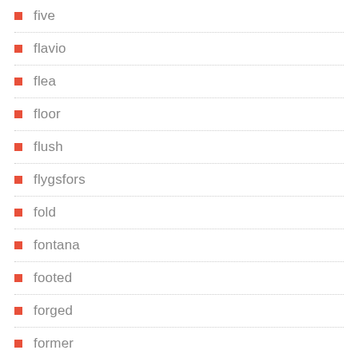five
flavio
flea
floor
flush
flygsfors
fold
fontana
footed
forged
former